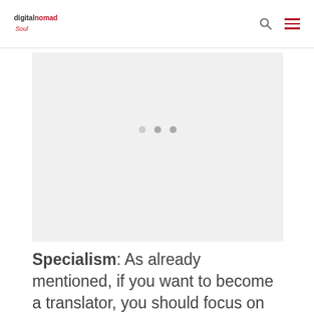digital nomad soul
[Figure (other): Gray placeholder image area with three dots indicating a slideshow or loading state]
Specialism: As already mentioned, if you want to become a translator, you should focus on one field, rather than